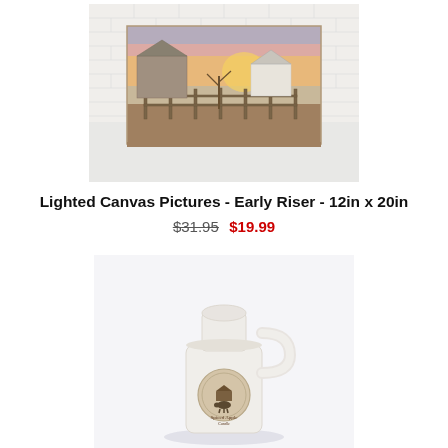[Figure (photo): A lighted canvas picture of an early riser farm scene with old barns, a fence, and a colorful sunset sky, displayed propped up against a white brick wall on a white surface.]
Lighted Canvas Pictures - Early Riser - 12in x 20in
$31.95  $19.99
[Figure (photo): A white milk bottle shaped candle with a round label featuring a cow silhouette and text reading 'Spiced Apple' scent.]